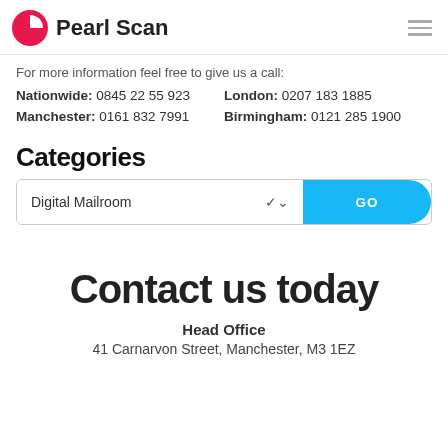Pearl Scan
For more information feel free to give us a call:
Nationwide: 0845 22 55 923   London: 0207 183 1885   Manchester: 0161 832 7991   Birmingham: 0121 285 1900
Categories
Digital Mailroom  GO
Contact us today
Head Office
41 Carnarvon Street, Manchester, M3 1EZ